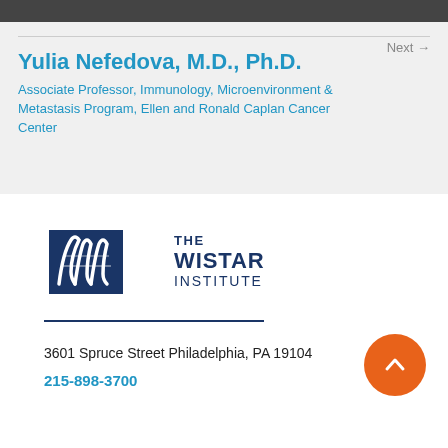Next →
Yulia Nefedova, M.D., Ph.D.
Associate Professor, Immunology, Microenvironment & Metastasis Program, Ellen and Ronald Caplan Cancer Center
[Figure (logo): The Wistar Institute logo with DNA helix graphic and text THE WISTAR INSTITUTE]
3601 Spruce Street Philadelphia, PA 19104
215-898-3700